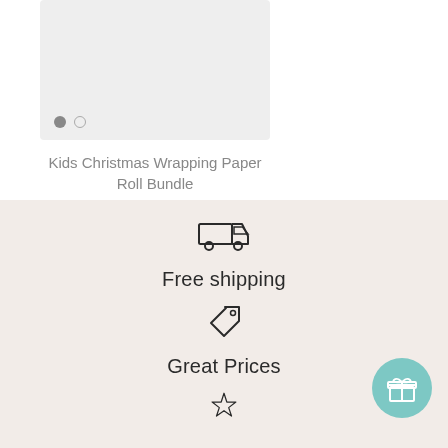[Figure (photo): Product image placeholder box with two navigation dots at bottom left, showing a light gray background]
Kids Christmas Wrapping Paper Roll Bundle
$39.95
[Figure (illustration): Truck/delivery icon]
Free shipping
[Figure (illustration): Price tag icon]
Great Prices
[Figure (illustration): Star icon (partially visible at bottom)]
[Figure (illustration): Gift box icon in teal circular button at bottom right]